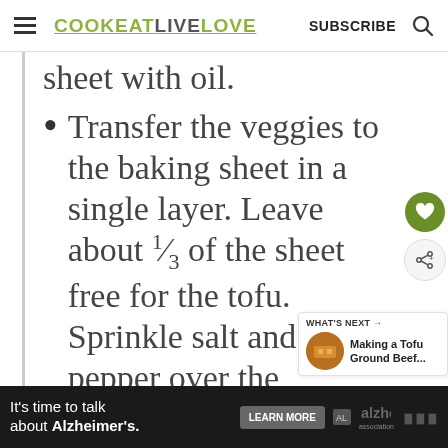COOK EAT LIVE LOVE   SUBSCRIBE
sheet with oil.
Transfer the veggies to the baking sheet in a single layer. Leave about ⅓ of the sheet free for the tofu. Sprinkle salt and pepper over the veggies. Place the oven at 425° F and cook
WHAT'S NEXT → Making a Tofu Ground Beef...
It's time to talk about Alzheimer's.   LEARN MORE